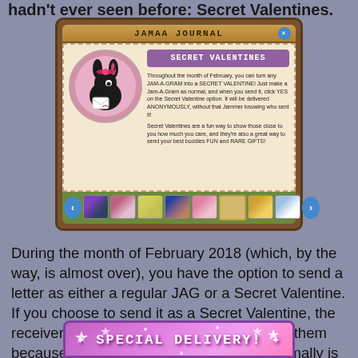hadn't ever seen before: Secret Valentines.
[Figure (screenshot): Jamaa Journal screenshot showing the Secret Valentines feature in Animal Jam, with a black bunny animal holding a letter, description text about turning JAM-A-GRAMs into SECRET VALENTINES anonymously, and a navigation bar with thumbnail images at the bottom.]
During the month of February 2018 (which, by the way, is almost over), you have the option to send a letter as either a regular JAG or a Secret Valentine. If you choose to send it as a Secret Valentine, the receiver will not know you sent the letter to them because the tag where your username normally is will be replaced by "Secret Valentine". It's pretty self-explanatory, really.
[Figure (screenshot): Partial screenshot showing a 'SPECIAL DELIVERY!' banner with pink and purple gradient background and sparkle effects.]